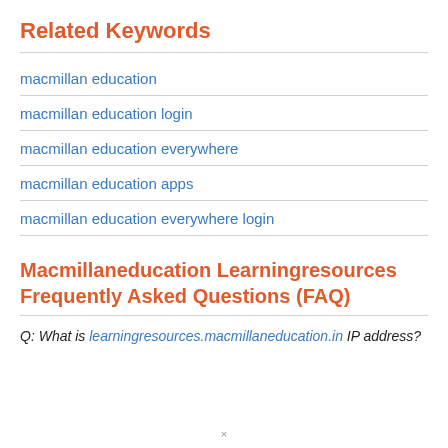Related Keywords
macmillan education
macmillan education login
macmillan education everywhere
macmillan education apps
macmillan education everywhere login
Macmillaneducation Learningresources Frequently Asked Questions (FAQ)
Q: What is learningresources.macmillaneducation.in IP address?